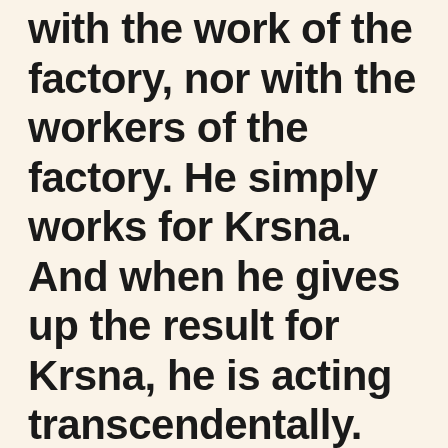with the work of the factory, nor with the workers of the factory. He simply works for Krsna. And when he gives up the result for Krsna, he is acting transcendentally. BG 1972 p
From Vaniquotes
Expressions researched: "A man working in Krsna consciousness in a factory does not associate himself with the work of the factory, nor with the workers of the factory. He simply works for Krsna. And when he gives up the result for Krsna, he is acting transcendentally"
Bhagavad-